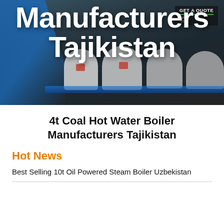[Figure (photo): Industrial boiler equipment photo background with large bold white text overlay reading 'Manufacturers Tajikistan', with blue architectural elements and white cylindrical boilers in a dark factory setting. A 'GET A QUOTE' badge appears in the upper right.]
4t Coal Hot Water Boiler Manufacturers Tajikistan
Hot News
Best Selling 10t Oil Powered Steam Boiler Uzbekistan